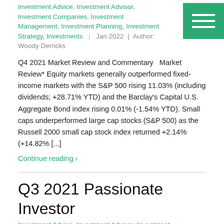Investment Advice, Investment Advisor, Investment Companies, Investment Management, Investment Planning, Investment Strategy, Investments | Jan 2022 | Author: Woody Derricks
Q4 2021 Market Review and Commentary  Market Review* Equity markets generally outperformed fixed-income markets with the S&P 500 rising 11.03% (including dividends; +28.71% YTD) and the Barclay's Capital U.S. Aggregate Bond index rising 0.01% (-1.54% YTD). Small caps underperformed large cap stocks (S&P 500) as the Russell 2000 small cap stock index returned +2.14% (+14.82% [...]
Continue reading ›
Q3 2021 Passionate Investor
Investment Advice, Investment Advisor, Investment